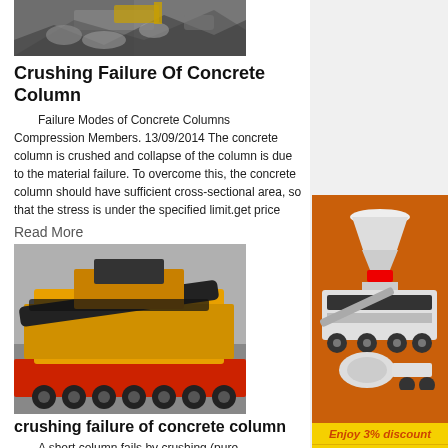[Figure (photo): Excavator or heavy machinery working with rocks/rubble, top portion of image visible]
Crushing Failure Of Concrete Column
Failure Modes of Concrete Columns Compression Members. 13/09/2014 The concrete column is crushed and collapse of the column is due to the material failure. To overcome this, the concrete column should have sufficient cross-sectional area, so that the stress is under the specified limit.get price
Read More
[Figure (photo): Large yellow mobile crushing/screening plant machine on a red multi-axle trailer]
crushing failure of concrete column
A short column fails by crushing (pure compression failure) Fig 7: Short column 7 Long Column If the ratio of effective length of the column to the least lateral
[Figure (photo): Sidebar advertisement showing crusher/grinding mill machines on orange background with Enjoy 3% discount and Click to Chat buttons, Enquiry section, limingjlmofen@sina.com email]